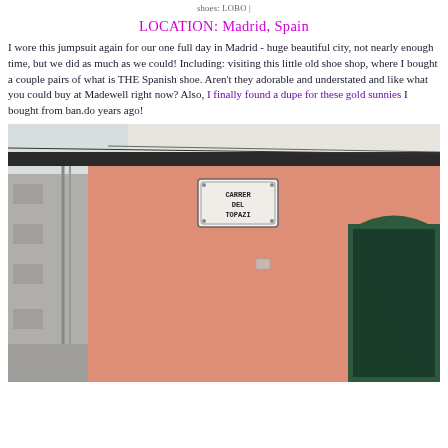shoes: LOBO |
LOCATION: Madrid, Spain
I wore this jumpsuit again for our one full day in Madrid - huge beautiful city, not nearly enough time, but we did as much as we could! Including: visiting this little old shoe shop, where I bought a couple pairs of what is THE Spanish shoe. Aren't they adorable and understated and like what you could buy at Madewell right now? Also, I finally found a dupe for these gold sunnies I bought from ban.do years ago!
[Figure (photo): A salmon/terracotta pink building exterior on a corner street. A street sign reading 'CARRER DEL TOPAZI' is mounted on the wall near the roofline. A window with dark green shutters and decorative ironwork grill is visible on the right side.]